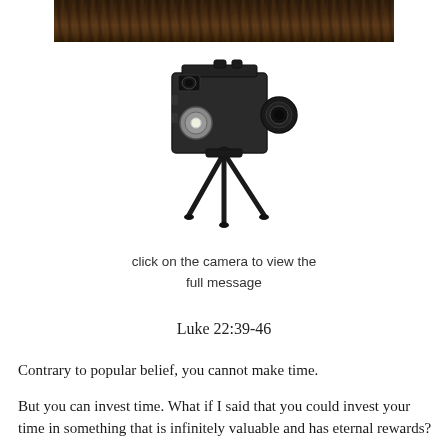[Figure (photo): Top portion of an animal fur/texture photo, dark brown earthy tones]
[Figure (photo): Vintage film camera on a small tripod, black and dark metal, on white background]
click on the camera to view the full message
Luke 22:39-46
Contrary to popular belief, you cannot make time.
But you can invest time. What if I said that you could invest your time in something that is infinitely valuable and has eternal rewards?